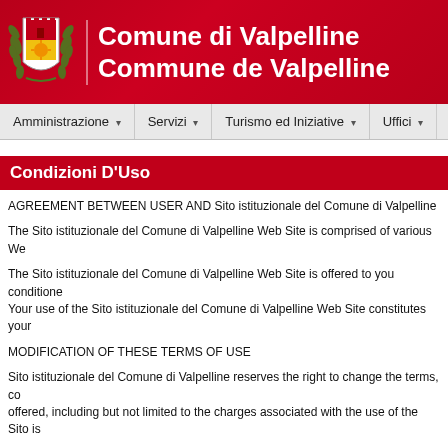Comune di Valpelline / Commune de Valpelline
[Figure (logo): Municipal coat of arms of Comune di Valpelline with laurel wreath]
Comune di Valpelline
Commune de Valpelline
Amministrazione ▾   Servizi ▾   Turismo ed Iniziative ▾   Uffici ▾
Condizioni D'Uso
AGREEMENT BETWEEN USER AND Sito istituzionale del Comune di Valpelline
The Sito istituzionale del Comune di Valpelline Web Site is comprised of various We
The Sito istituzionale del Comune di Valpelline Web Site is offered to you conditione Your use of the Sito istituzionale del Comune di Valpelline Web Site constitutes your
MODIFICATION OF THESE TERMS OF USE
Sito istituzionale del Comune di Valpelline reserves the right to change the terms, co offered, including but not limited to the charges associated with the use of the Sito is
LINKS TO THIRD PARTY SITES